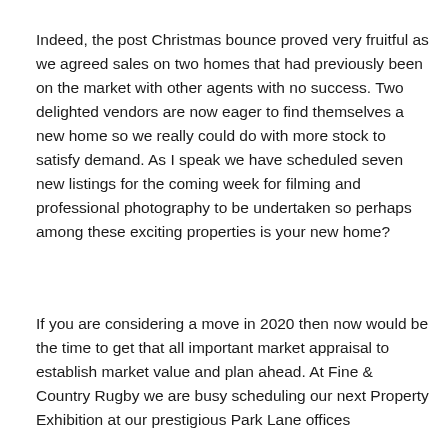Indeed, the post Christmas bounce proved very fruitful as we agreed sales on two homes that had previously been on the market with other agents with no success. Two delighted vendors are now eager to find themselves a new home so we really could do with more stock to satisfy demand. As I speak we have scheduled seven new listings for the coming week for filming and professional photography to be undertaken so perhaps among these exciting properties is your new home?
If you are considering a move in 2020 then now would be the time to get that all important market appraisal to establish market value and plan ahead. At Fine & Country Rugby we are busy scheduling our next Property Exhibition at our prestigious Park Lane offices